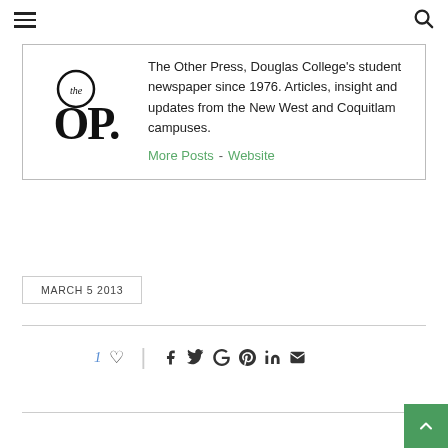Navigation bar with hamburger menu and search icon
[Figure (logo): The OP logo — 'the' in small serif text inside a circle above 'OP.' in large bold serif text]
The Other Press, Douglas College's student newspaper since 1976. Articles, insight and updates from the New West and Coquitlam campuses.
More Posts - Website
MARCH 5 2013
1 ♡  |  social share icons: Facebook, Twitter, Google+, Pinterest, LinkedIn, Email